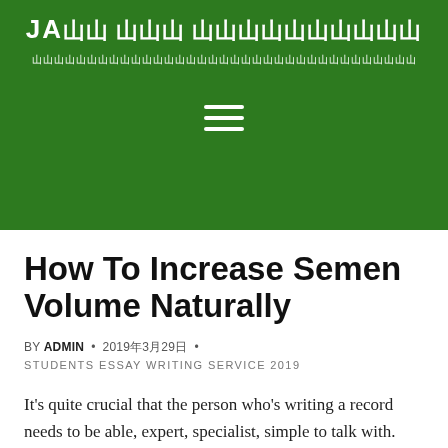JA山山 山山山 山山山山山山山山山山山山山山山山山山山山山山山山山山山山山山山山山山山山山山山山山山山山山山山
How To Increase Semen Volume Naturally
BY ADMIN • 2019年3月29日 •
STUDENTS ESSAY WRITING SERVICE 2019
It’s quite crucial that the person who’s writing a record needs to be able, expert, specialist, simple to talk with.